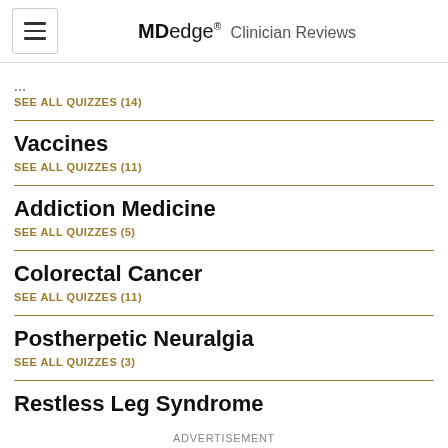MDedge® Clinician Reviews
SEE ALL QUIZZES (14)
Vaccines
SEE ALL QUIZZES (11)
Addiction Medicine
SEE ALL QUIZZES (5)
Colorectal Cancer
SEE ALL QUIZZES (11)
Postherpetic Neuralgia
SEE ALL QUIZZES (3)
Restless Leg Syndrome
ADVERTISEMENT